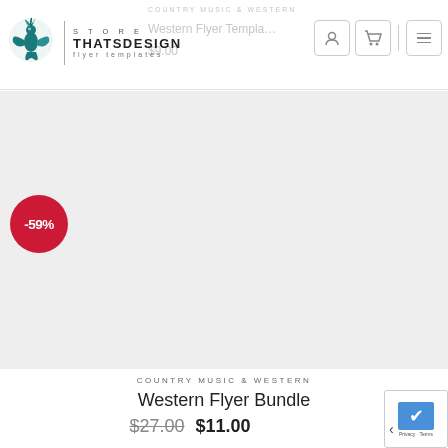STORE THATSDESIGN flyer templates
COUNTRY MUSIC & WESTERN
Western Flyer Templates
$9.00
[Figure (other): Product image area showing a light gray placeholder with a -59% red discount badge in the top-left corner]
COUNTRY MUSIC & WESTERN
Western Flyer Bundle
$27.00 $11.00